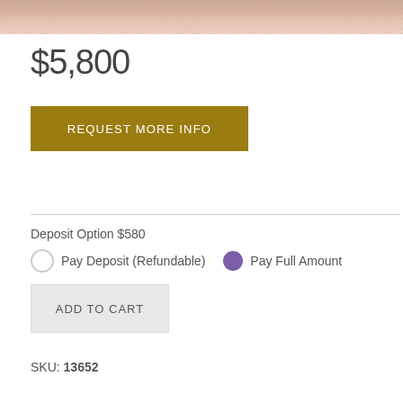[Figure (photo): Close-up photo of skin texture, likely fingers or hand, cropped at top of page]
$5,800
REQUEST MORE INFO
Deposit Option $580
Pay Deposit (Refundable)   Pay Full Amount
ADD TO CART
SKU: 13652